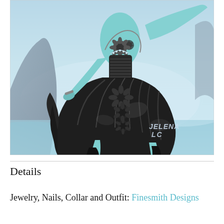[Figure (illustration): A 3D rendered fantasy character with blue/teal skin wearing a black layered outfit with floral jewelry and accessories, posed dynamically against a misty water and rock background. A logo watermark reading 'JELENA LC' appears in the bottom right.]
Details
Jewelry, Nails, Collar and Outfit: Finesmith Designs